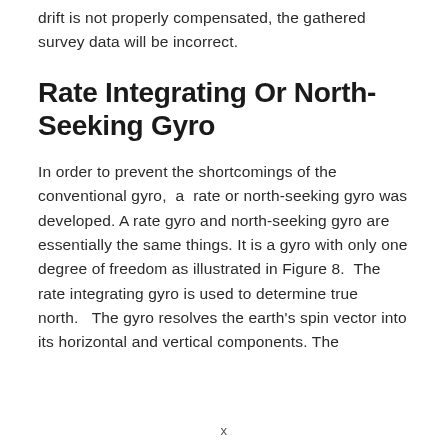drift is not properly compensated, the gathered survey data will be incorrect.
Rate Integrating Or North-Seeking Gyro
In order to prevent the shortcomings of the conventional gyro,  a  rate or north-seeking gyro was developed. A rate gyro and north-seeking gyro are essentially the same things. It is a gyro with only one degree of freedom as illustrated in Figure 8.  The rate integrating gyro is used to determine true north.   The gyro resolves the earth's spin vector into its horizontal and vertical components. The
x